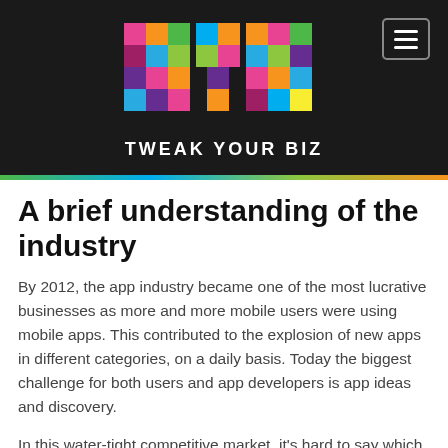[Figure (logo): Tweak Your Biz (TYB) colorful pixel block logo with brand name below on black background]
A brief understanding of the industry
By 2012, the app industry became one of the most lucrative businesses as more and more mobile users were using mobile apps. This contributed to the explosion of new apps in different categories, on a daily basis. Today the biggest challenge for both users and app developers is app ideas and discovery.
In this water-tight competitive market, it's hard to say which app idea will be a total boom and which a runaway